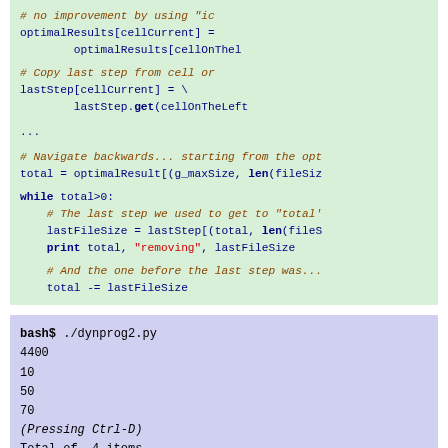[Figure (screenshot): Python code block on green background showing dynamic programming solution with optimalResults and lastStep tracking, while loop for backtracking]
[Figure (screenshot): Bash shell output block on blue-purple background showing ./dynprog2.py execution with output 4400, 10, 50, 70, (Pressing Ctrl-D), Total of 4 items, [4400, 10, 50, 70]]